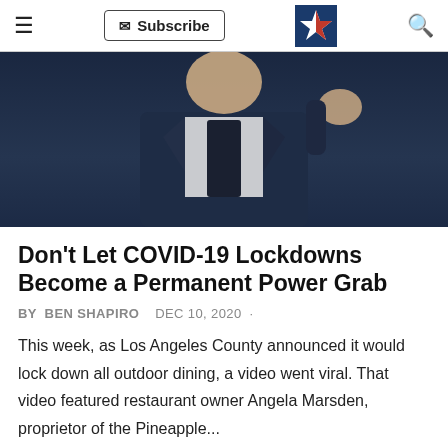Subscribe
[Figure (photo): Person in dark suit with hand raised, photographed against dark background]
Don't Let COVID-19 Lockdowns Become a Permanent Power Grab
BY BEN SHAPIRO   DEC 10, 2020 ·
This week, as Los Angeles County announced it would lock down all outdoor dining, a video went viral. That video featured restaurant owner Angela Marsden, proprietor of the Pineapple...
FAKE NEWS · LIBERAL LUNACY · POTUS 2020 · SOCIALISM ON THE RISE
[Figure (photo): Partially visible portrait photo at bottom of page]